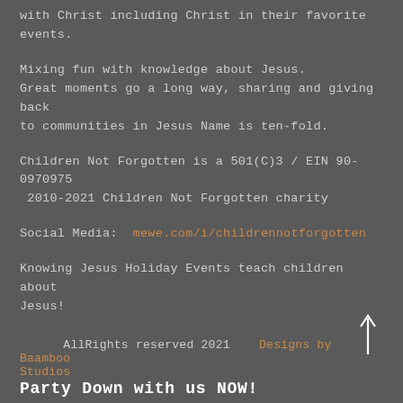with Christ including Christ in their favorite events.
Mixing fun with knowledge about Jesus. Great moments go a long way, sharing and giving back to communities in Jesus Name is ten-fold.
Children Not Forgotten is a 501(C)3 / EIN 90-0970975 2010-2021 Children Not Forgotten charity
Social Media: mewe.com/i/childrennotforgotten
Knowing Jesus Holiday Events teach children about Jesus!
AllRights reserved 2021   Designs by Baamboo Studios
Party Down with us NOW!